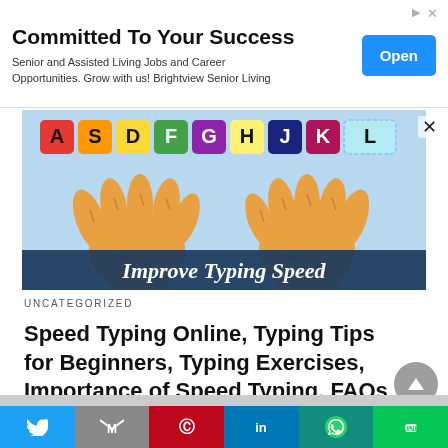[Figure (infographic): Advertisement banner: 'Committed To Your Success' with subtitle 'Senior and Assisted Living Jobs and Career Opportunities. Grow with us! Brightview Senior Living' and a blue 'Open' button on the right.]
[Figure (illustration): Colorful cartoon illustration of two orange cat paws typing on keyboard keys labeled A, S, D, F, G, H, J, K, L with a dark blue banner reading 'Improve Typing Speed'.]
UNCATEGORIZED
Speed Typing Online, Typing Tips for Beginners, Typing Exercises, Importance of Speed Typing, FAQs